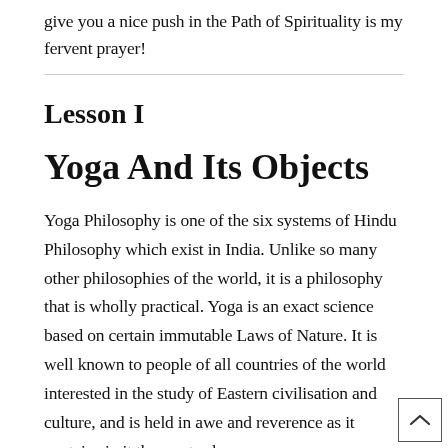give you a nice push in the Path of Spirituality is my fervent prayer!
Lesson I
Yoga And Its Objects
Yoga Philosophy is one of the six systems of Hindu Philosophy which exist in India. Unlike so many other philosophies of the world, it is a philosophy that is wholly practical. Yoga is an exact science based on certain immutable Laws of Nature. It is well known to people of all countries of the world interested in the study of Eastern civilisation and culture, and is held in awe and reverence as it contains in it the master-key